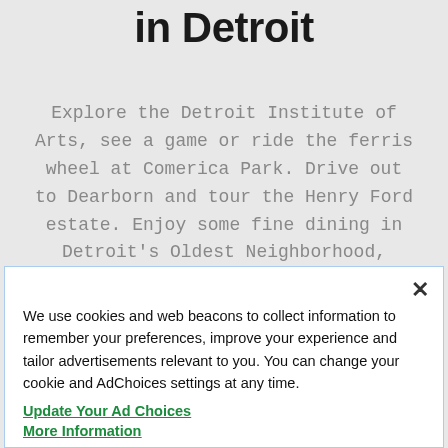in Detroit
Explore the Detroit Institute of Arts, see a game or ride the ferris wheel at Comerica Park. Drive out to Dearborn and tour the Henry Ford estate. Enjoy some fine dining in Detroit's Oldest Neighborhood, Corktown.
[Figure (other): Green rounded button labeled 'Corktown']
We use cookies and web beacons to collect information to remember your preferences, improve your experience and tailor advertisements relevant to you. You can change your cookie and AdChoices settings at any time.
Update Your Ad Choices
More Information
Manage Your Settings